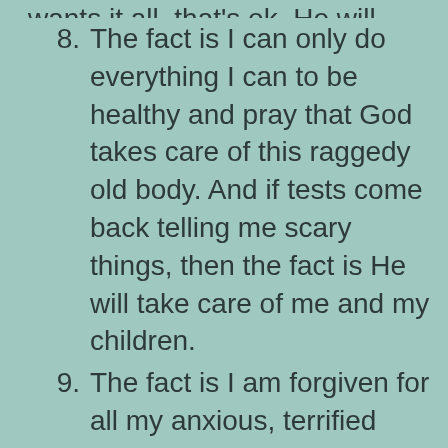wants it all, that's ok.  He will provide.
8. The fact is I can only do everything I can to be healthy and pray that God takes care of this raggedy old body.  And if tests come back telling me scary things, then the fact is He will take care of me and my children.
9. The fact is I am forgiven for all my anxious, terrified thoughts and all my frustrated, angry outbursts, and all my mistakes and sins.
10. The fact is I am a Child of God.  I am never alone, never forsaken, never dismissed, and never unloved.